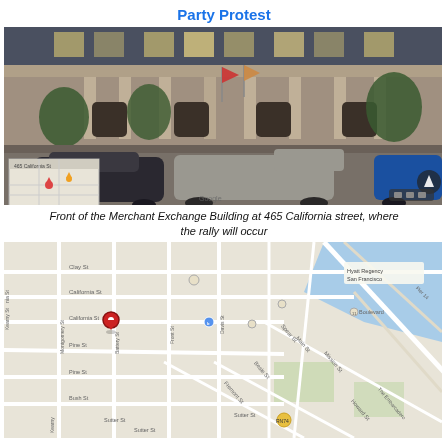Party Protest
[Figure (photo): Street view photo of the front of the Merchant Exchange Building at 465 California Street, San Francisco. Classical architecture with large columns, trees in front, cars parked on the street including a dark sedan and a silver pickup truck.]
Front of the Merchant Exchange Building at 465 California street, where the rally will occur
[Figure (map): Google Maps view of downtown San Francisco showing streets including California St, Montgomery St, Battery St, Front St, Clay St, Pine St, Bush St, Sutter St, and surrounding area. A red location pin marks the Merchant Exchange Building at 465 California Street. Nearby landmarks include Hyatt Regency San Francisco and The Embarcadero.]